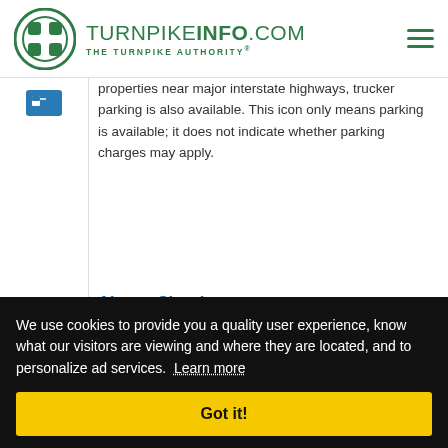TURNPIKEINFO.COM THE TURNPIKE AUTHORITY®
properties near major interstate highways, trucker parking is also available. This icon only means parking is available; it does not indicate whether parking charges may apply.
Airport Shuttle
This means the hotel has said it provides an airport shuttle for guests,
We use cookies to provide you a quality user experience, know what our visitors are viewing and where they are located, and to personalize ad services. Learn more
Got it!